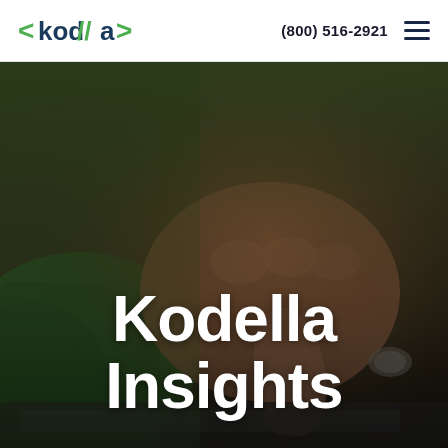<kodella> (800) 516-2921 ☰
[Figure (photo): Close-up photo of a person's hand with fingers pointing/tapping, wearing a green sleeve, with a laptop in the background. Dark olive/green color tones with warm highlights.]
Kodella Insights